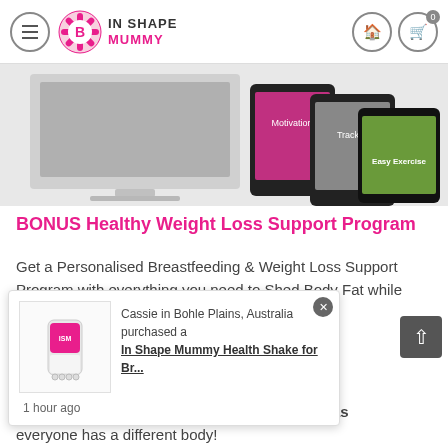IN SHAPE MUMMY
[Figure (screenshot): Hero image showing a Mac desktop and tablets with Motivation, Tracker, and Easy Exercise screens]
BONUS Healthy Weight Loss Support Program
Get a Personalised Breastfeeding & Weight Loss Support Program with everything you need to Shed Body Fat while Supporting Your Milk Supply.
We'll calculate how many calories your individual ... personalised ... height, ... you're breastfeeding. There is no "one size" fits all as everyone has a different body!
[Figure (screenshot): Popup notification: Cassie in Bohle Plains, Australia purchased a In Shape Mummy Health Shake for Br... 1 hour ago, with product image of shake container]